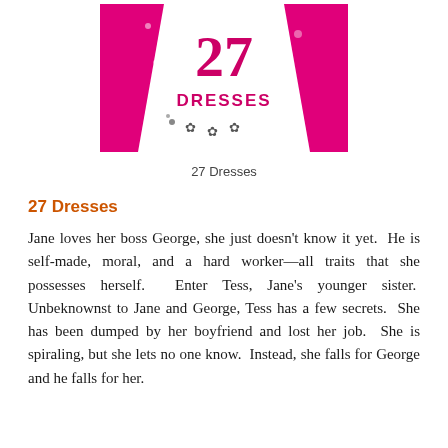[Figure (illustration): Movie poster for '27 Dresses' showing a white dress silhouette on a hot pink background with the number 27 and the word DRESSES written in pink/magenta text]
27 Dresses
27 Dresses
Jane loves her boss George, she just doesn’t know it yet.  He is self-made, moral, and a hard worker—all traits that she possesses herself.  Enter Tess, Jane’s younger sister.  Unbeknownst to Jane and George, Tess has a few secrets.  She has been dumped by her boyfriend and lost her job.  She is spiraling, but she lets no one know.  Instead, she falls for George and he falls for her.